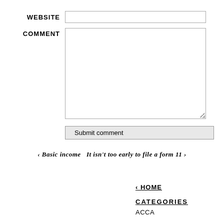WEBSITE
COMMENT
Submit comment
‹ Basic income   It isn't too early to file a form 11 ›
‹ HOME
CATEGORIES
ACCA